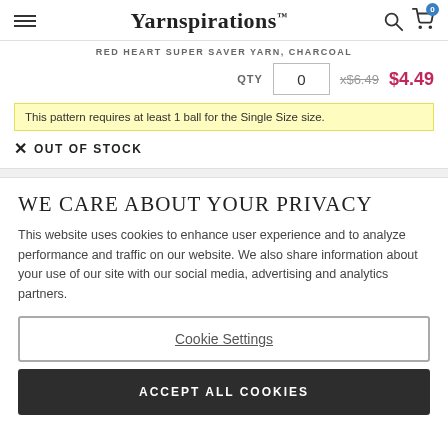Yarnspirations — navigation header with hamburger menu, logo, search and cart icons
RED HEART SUPER SAVER YARN, CHARCOAL
QTY 0 x$6.49 $4.49
This pattern requires at least 1 ball for the Single Size size.
X OUT OF STOCK
WE CARE ABOUT YOUR PRIVACY
This website uses cookies to enhance user experience and to analyze performance and traffic on our website. We also share information about your use of our site with our social media, advertising and analytics partners.
Cookie Settings
ACCEPT ALL COOKIES